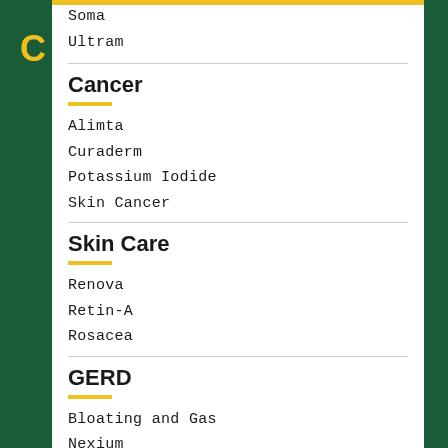Soma
Ultram
Cancer
Alimta
Curaderm
Potassium Iodide
Skin Cancer
Skin Care
Renova
Retin-A
Rosacea
GERD
Bloating and Gas
Nexium
Prilosec